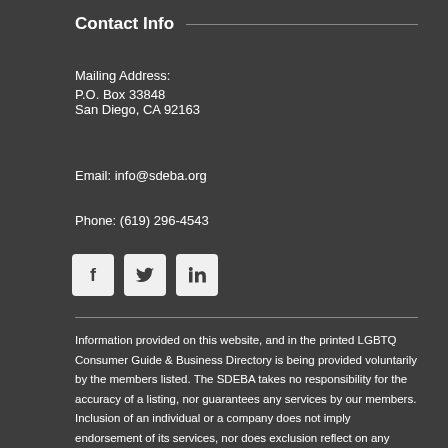Contact Info
Mailing Address:
P.O. Box 33848
San Diego, CA 92163
Email: info@sdeba.org
Phone: (619) 296-4543
[Figure (other): Social media icons: Facebook, Twitter, LinkedIn]
Information provided on this website, and in the printed LGBTQ Consumer Guide & Business Directory is being provided voluntarily by the members listed. The SDEBA takes no responsibility for the accuracy of a listing, nor guarantees any services by our members. Inclusion of an individual or a company does not imply endorsement of its services, nor does exclusion reflect on any